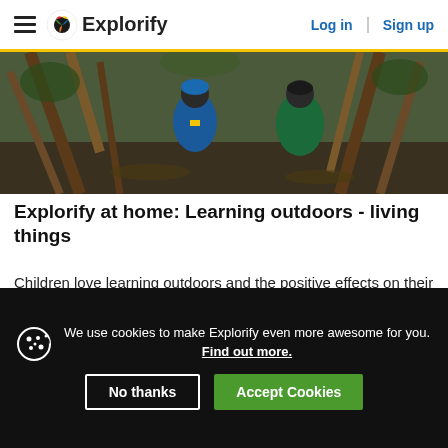Explorify | Log in | Sign up
[Figure (photo): Children building a den outdoors with sticks and branches in a woodland setting, viewed from behind]
Explorify at home: Learning outdoors - living things
Children love learning outdoors and the positive effects on their mental and physical wellbeing have been well documented. This collection takes your children's learning outdoors with a focus on living things.
We use cookies to make Explorify even more awesome for you. Find out more. | No thanks | Accept Cookies